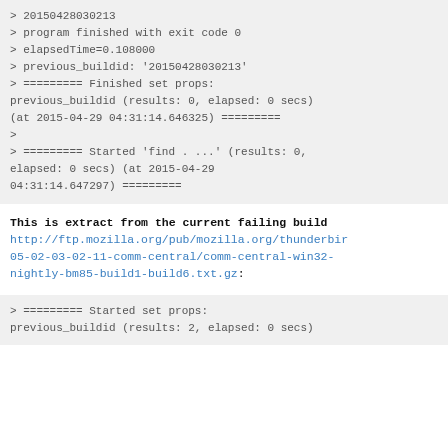> 20150428030213
> program finished with exit code 0
> elapsedTime=0.108000
> previous_buildid: '20150428030213'
> ========= Finished set props: previous_buildid (results: 0, elapsed: 0 secs) (at 2015-04-29 04:31:14.646325) =========
>
> ========= Started 'find . ...' (results: 0, elapsed: 0 secs) (at 2015-04-29 04:31:14.647297) =========
This is extract from the current failing build
http://ftp.mozilla.org/pub/mozilla.org/thunderbird/05-02-03-02-11-comm-central/comm-central-win32-nightly-bm85-build1-build6.txt.gz:
> ========= Started set props: previous_buildid (results: 2, elapsed: 0 secs)